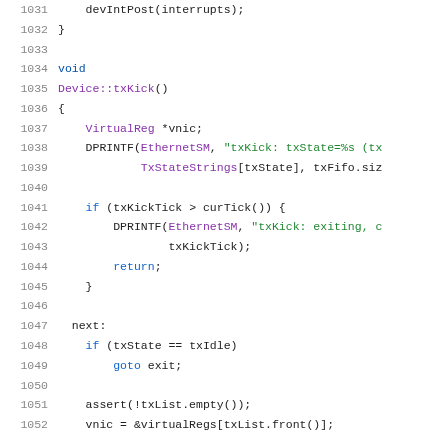[Figure (screenshot): Source code listing showing C++ code for Device::txKick() function, lines 1031–1052, with syntax highlighting in monospace font on white background.]